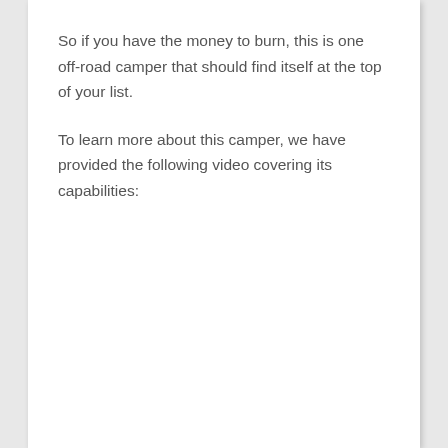So if you have the money to burn, this is one off-road camper that should find itself at the top of your list.
To learn more about this camper, we have provided the following video covering its capabilities: